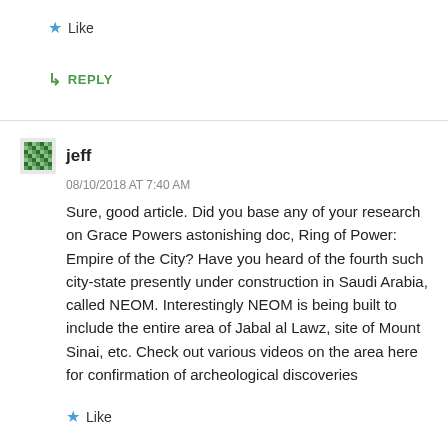Like
REPLY
jeff
08/10/2018 AT 7:40 AM
Sure, good article. Did you base any of your research on Grace Powers astonishing doc, Ring of Power: Empire of the City? Have you heard of the fourth such city-state presently under construction in Saudi Arabia, called NEOM. Interestingly NEOM is being built to include the entire area of Jabal al Lawz, site of Mount Sinai, etc. Check out various videos on the area here for confirmation of archeological discoveries
Like